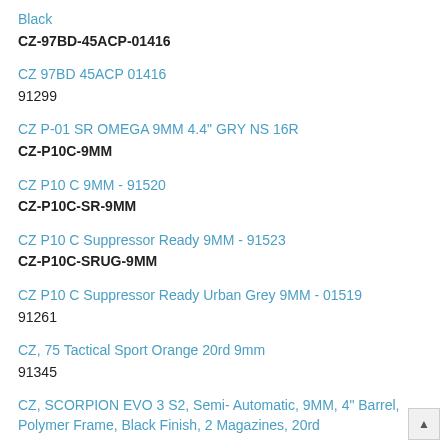Black
CZ-97BD-45ACP-01416
CZ 97BD 45ACP 01416
91299
CZ P-01 SR OMEGA 9MM 4.4" GRY NS 16R
CZ-P10C-9MM
CZ P10 C 9MM - 91520
CZ-P10C-SR-9MM
CZ P10 C Suppressor Ready 9MM - 91523
CZ-P10C-SRUG-9MM
CZ P10 C Suppressor Ready Urban Grey 9MM - 01519
91261
CZ, 75 Tactical Sport Orange 20rd 9mm
91345
CZ, SCORPION EVO 3 S2, Semi- Automatic, 9MM, 4" Barrel, Polymer Frame, Black Finish, 2 Magazines, 20rd